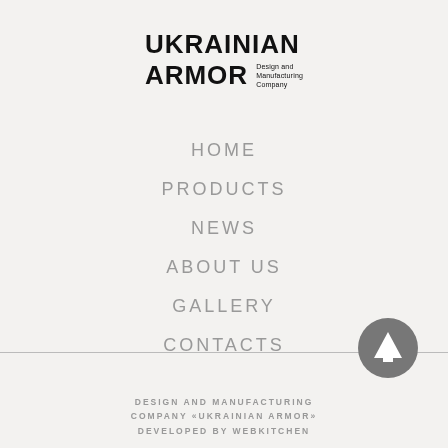UKRAINIAN ARMOR Design and Manufacturing Company
HOME
PRODUCTS
NEWS
ABOUT US
GALLERY
CONTACTS
[Figure (illustration): Circular dark gray button with white upward-pointing arrow icon]
DESIGN AND MANUFACTURING COMPANY «UKRAINIAN ARMOR» DEVELOPED BY WEBKITCHEN